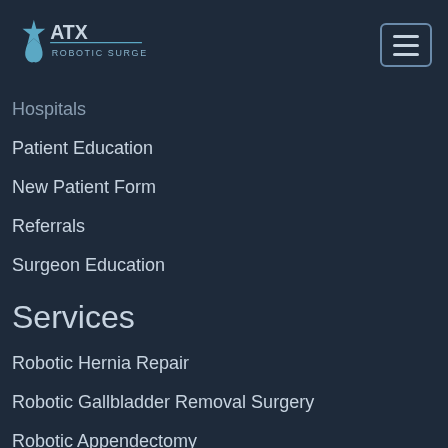[Figure (logo): ATX Robotic Surgery logo with Texas star icon in light blue]
Hospitals
Patient Education
New Patient Form
Referrals
Surgeon Education
Services
Robotic Hernia Repair
Robotic Gallbladder Removal Surgery
Robotic Appendectomy
Robotic Small Bowel Surgery
Robotic Colon Surgery
Bariatric Surgery